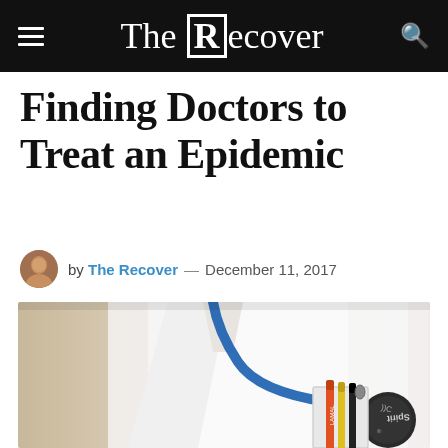The Recover
Finding Doctors to Treat an Epidemic
by The Recover — December 11, 2017
[Figure (photo): Doctor in white lab coat with a Spirit stethoscope and pens/scissors in coat pocket, blurred background]